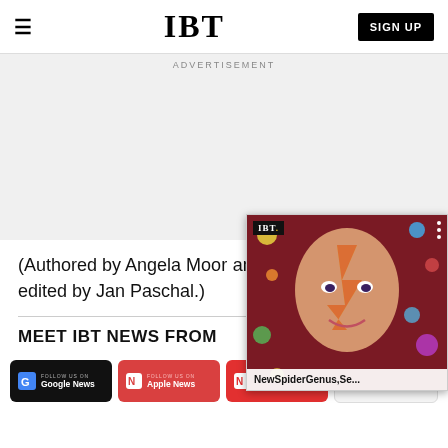IBT — SIGN UP
Advertisement
(Authored by Angela Moor__ and Ro__ Havell, edited by Jan Paschal.)
MEET IBT NEWS FROM
[Figure (screenshot): IBT video player overlay showing a colorful artistic portrait (Aladdin Sane style face paint) with title 'NewSpiderGenus,Se...' and a close button]
[Figure (logo): Follow us on Google News badge (black background)]
[Figure (logo): Follow us on Apple News badge (red background)]
[Figure (logo): Follow us on Newsbreak badge (red background)]
[Figure (logo): Follow us on Telegram badge (light background)]